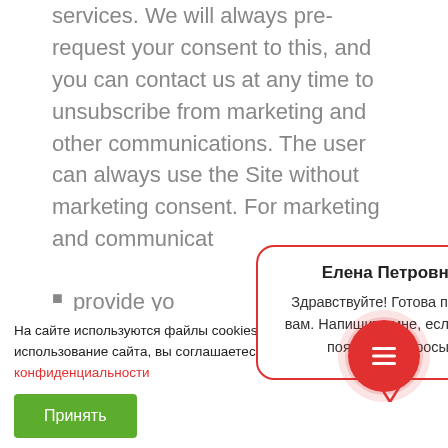services. We will always pre-request your consent to this, and you can contact us at any time to unsubscribe from marketing and other communications. The user can always use the Site without marketing consent. For marketing and communicat
provide yo... advertisem... email, sms...
[Figure (screenshot): Chat popup with agent name 'Елена Петровна' and message 'Здравствуйте! Готова помочь вам. Напишите мне, если у вас появятся вопросы.' with red border, close X button, and speech bubble tail pointing down.]
На сайте используются файлы cookies. Продолжая использование сайта, вы соглашаетесь с этим. Политика конфиденциальности
Принять